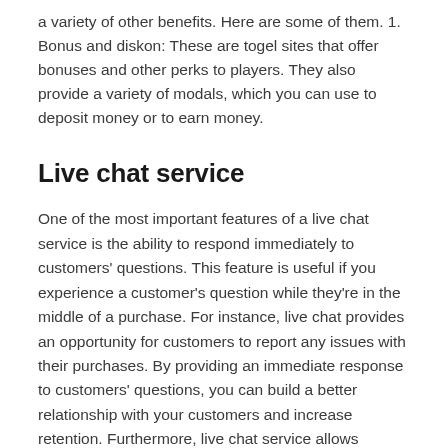a variety of other benefits. Here are some of them. 1. Bonus and diskon: These are togel sites that offer bonuses and other perks to players. They also provide a variety of modals, which you can use to deposit money or to earn money.
Live chat service
One of the most important features of a live chat service is the ability to respond immediately to customers' questions. This feature is useful if you experience a customer's question while they're in the middle of a purchase. For instance, live chat provides an opportunity for customers to report any issues with their purchases. By providing an immediate response to customers' questions, you can build a better relationship with your customers and increase retention. Furthermore, live chat service allows companies to automate customer service and reduce waiting time for customers.